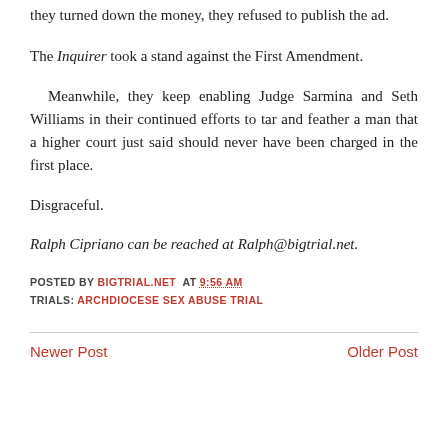they turned down the money, they refused to publish the ad.
The Inquirer took a stand against the First Amendment.
Meanwhile, they keep enabling Judge Sarmina and Seth Williams in their continued efforts to tar and feather a man that a higher court just said should never have been charged in the first place.
Disgraceful.
Ralph Cipriano can be reached at Ralph@bigtrial.net.
POSTED BY BIGTRIAL.NET AT 9:56 AM TRIALS: ARCHDIOCESE SEX ABUSE TRIAL
Newer Post | Older Post